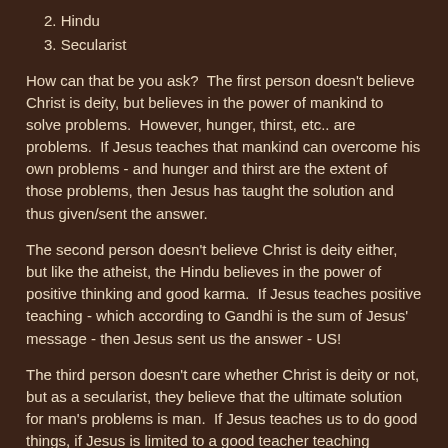2. Hindu
3. Secularist
How can that be you ask?  The first person doesn't believe Christ is deity, but believes in the power of mankind to solve problems.  However, hunger, thirst, etc.. are problems.  If Jesus teaches that mankind can overcome his own problems - and hunger and thirst are the extent of those problems, then Jesus has taught the solution and thus given/sent the answer.
The second person doesn't believe Christ is deity either, but like the atheist, the Hindu believes in the power of positive thinking and good karma.  If Jesus teaches positive teaching - which according to Gandhi is the sum of Jesus' message - then Jesus sent us the answer - US!
The third person doesn't care whether Christ is deity or not, but as a secularist, they believe that the ultimate solution for man's problems is man.  If Jesus teaches us to do good things, if Jesus is limited to a good teacher teaching positive things, then that person will agree with the statement as…